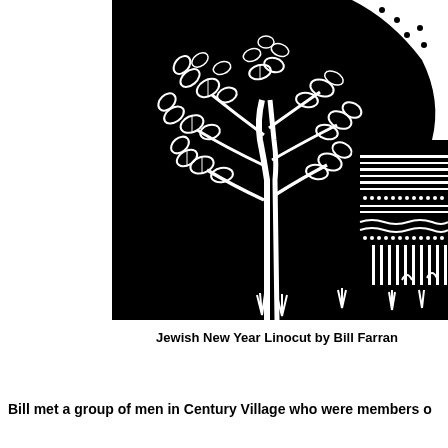[Figure (illustration): A black and white linocut print depicting a Jewish New Year scene. A large leafy plant/tree with detailed leaves dominates the left portion, set against a solid black background. On the right side, decorative patterns with stripes, dots, and curved lines are visible, suggesting a figure or ceremonial object. Small grass tufts appear at the bottom.]
Jewish New Year Linocut by Bill Farran
Bill met a group of men in Century Village who were members o